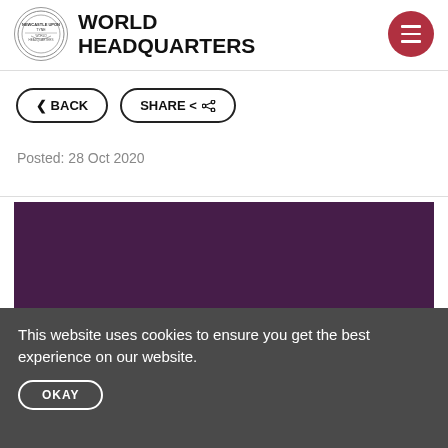WORLD HEADQUARTERS
< BACK    SHARE
Posted: 28 Oct 2020
[Figure (photo): Dark purple/maroon rectangular image area, content not visible]
This website uses cookies to ensure you get the best experience on our website.